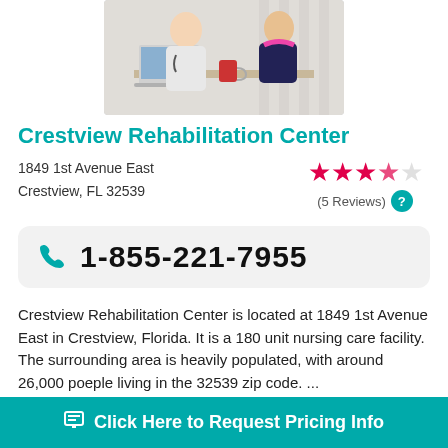[Figure (photo): A nurse or healthcare professional sitting at a desk with a laptop, consulting with an elderly female patient.]
Crestview Rehabilitation Center
1849 1st Avenue East
Crestview, FL 32539
[Figure (infographic): Star rating: 3.5 out of 5 stars (5 Reviews)]
1-855-221-7955
Crestview Rehabilitation Center is located at 1849 1st Avenue East in Crestview, Florida. It is a 180 unit nursing care facility. The surrounding area is heavily populated, with around 26,000 poeple living in the 32539 zip code. ...
30 miles away from Miramar Beach, FL
Click Here to Request Pricing Info